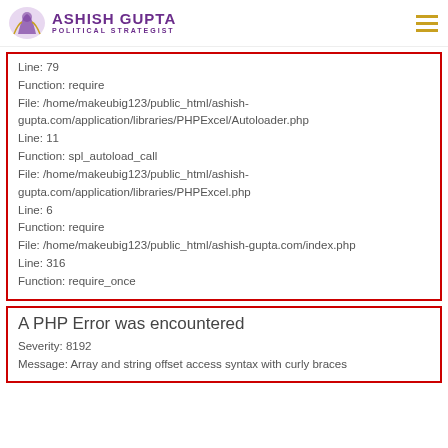ASHISH GUPTA POLITICAL STRATEGIST
Line: 79
Function: require
File: /home/makeubig123/public_html/ashish-gupta.com/application/libraries/PHPExcel/Autoloader.php
Line: 11
Function: spl_autoload_call
File: /home/makeubig123/public_html/ashish-gupta.com/application/libraries/PHPExcel.php
Line: 6
Function: require
File: /home/makeubig123/public_html/ashish-gupta.com/index.php
Line: 316
Function: require_once
A PHP Error was encountered
Severity: 8192
Message: Array and string offset access syntax with curly braces